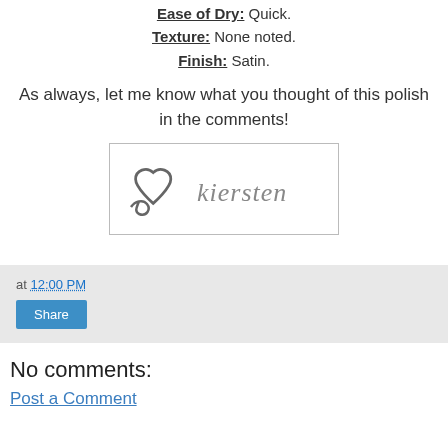Ease of Dry: Quick. Texture: None noted. Finish: Satin.
As always, let me know what you thought of this polish in the comments!
[Figure (illustration): Handwritten signature with a heart symbol followed by the name 'kiersten' in cursive script, gray color, inside a bordered box.]
at 12:00 PM
Share
No comments:
Post a Comment